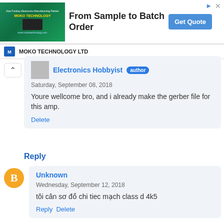[Figure (screenshot): Advertisement banner for MOKO TECHNOLOGY LTD with green circuit board image, text 'From Sample to Batch Order', and a 'Get Quote' blue button]
MOKO TECHNOLOGY LTD
Electronics Hobbyist author
Saturday, September 08, 2018
Youre wellcome bro, and i already make the gerber file for this amp.
Delete
Reply
Unknown
Wednesday, September 12, 2018
tôi cân sơ đồ chi tiec mạch class d 4k5
Reply  Delete